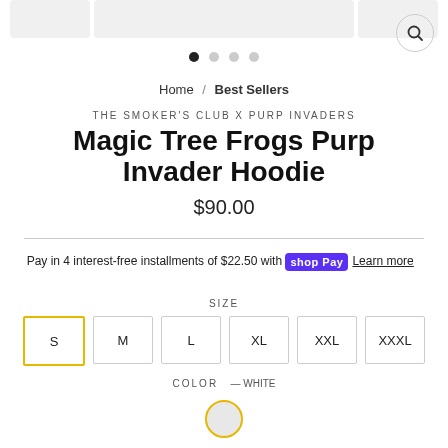[Figure (photo): Partial product image thumbnails at top, cut off]
[Figure (other): Pagination dots: 4 dots, first filled black, rest gray]
Home / Best Sellers
THE SMOKER'S CLUB X PURP INVADERS
Magic Tree Frogs Purp Invader Hoodie
$90.00
Pay in 4 interest-free installments of $22.50 with Shop Pay Learn more
SIZE
S  M  L  XL  XXL  XXXL
COLOR — White
[Figure (other): White color swatch circle with yellow border]